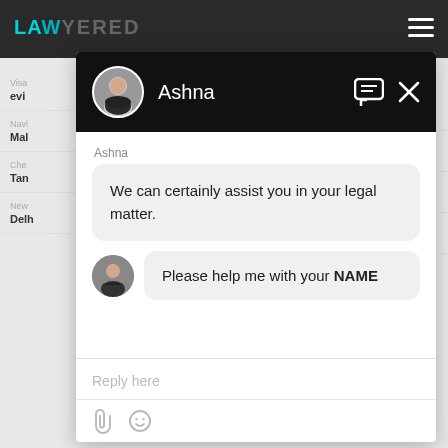[Figure (screenshot): Screenshot of a legal services website (Lawyered) with a chat overlay widget. The chat widget shows agent 'Ashna' with a profile photo. The chat contains a message from Ashna: 'We can certainly assist you in your legal matter.' and a user message: 'Please help me with your NAME'. There is a reply input field at the bottom with a paperclip and emoji icon. Background page shows partial navigation items: Visa/evi..., Navi/Mal..., Che/Tan..., New/Delh...]